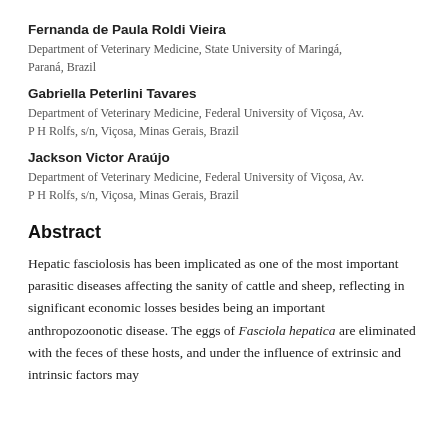Fernanda de Paula Roldi Vieira
Department of Veterinary Medicine, State University of Maringá, Paraná, Brazil
Gabriella Peterlini Tavares
Department of Veterinary Medicine, Federal University of Viçosa, Av. P H Rolfs, s/n, Viçosa, Minas Gerais, Brazil
Jackson Victor Araújo
Department of Veterinary Medicine, Federal University of Viçosa, Av. P H Rolfs, s/n, Viçosa, Minas Gerais, Brazil
Abstract
Hepatic fasciolosis has been implicated as one of the most important parasitic diseases affecting the sanity of cattle and sheep, reflecting in significant economic losses besides being an important anthropozoonotic disease. The eggs of Fasciola hepatica are eliminated with the feces of these hosts, and under the influence of extrinsic and intrinsic factors may